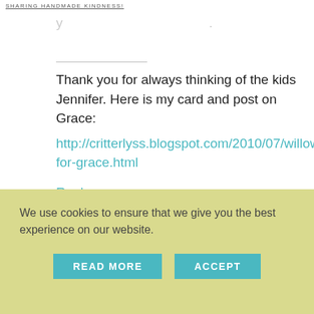SHARING HANDMADE KINDNESS!
Thank you for always thinking of the kids Jennifer. Here is my card and post on Grace: http://critterlyss.blogspot.com/2010/07/willow-for-grace.html
Reply
12. JENNIFER SCULL says: | July 10, 2010 at 9:39 am
We use cookies to ensure that we give you the best experience on our website.
READ MORE
ACCEPT